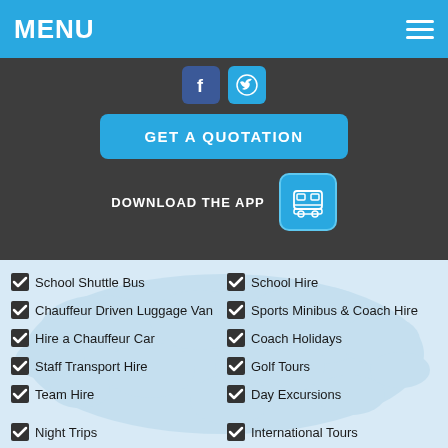MENU
[Figure (screenshot): Dark section with social media icons (Facebook, Twitter), a blue GET A QUOTATION button, and DOWNLOAD THE APP text with a bus app icon]
School Shuttle Bus
School Hire
Chauffeur Driven Luggage Van
Sports Minibus & Coach Hire
Hire a Chauffeur Car
Coach Holidays
Staff Transport Hire
Golf Tours
Team Hire
Day Excursions
Night Trips
International Tours
Group Day Trips
Wedding Hire